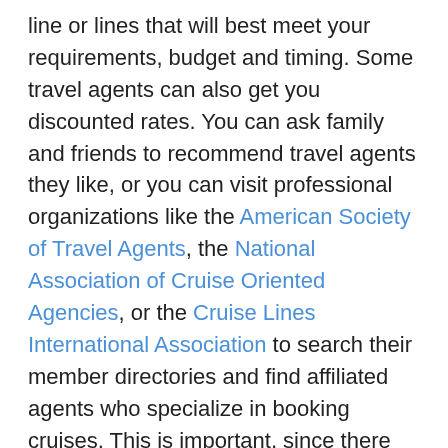line or lines that will best meet your requirements, budget and timing. Some travel agents can also get you discounted rates. You can ask family and friends to recommend travel agents they like, or you can visit professional organizations like the American Society of Travel Agents, the National Association of Cruise Oriented Agencies, or the Cruise Lines International Association to search their member directories and find affiliated agents who specialize in booking cruises. This is important, since there are many details that you'll need to work out when booking a cruise and you want a very experienced professional making sure everything is taken care of correctly.
If you're an experienced cruiser, you may decide to book your trip yourself. You can use one of the many discount travel services. Expedia.com, Priceline.com, Hotwire.com, Cruiseshop.com and Lastminutecruise.com are just a